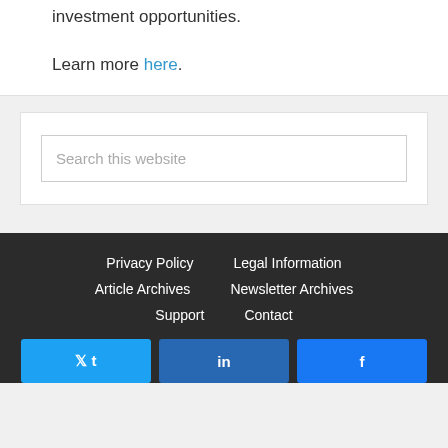investment opportunities.
Learn more here.
Search this website
Privacy Policy   Legal Information   Article Archives   Newsletter Archives   Support   Contact
[Figure (other): Social media share buttons: Twitter, LinkedIn, Facebook]